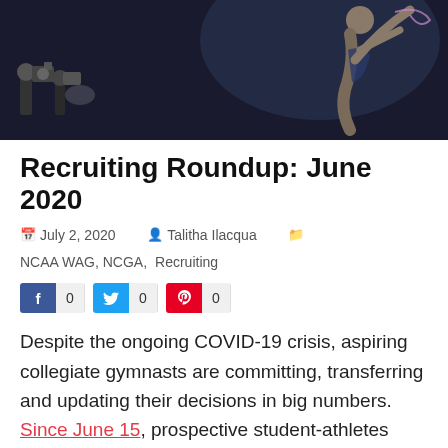[Figure (photo): Gymnast competing at an event, with photographers visible in the background. Dark background with dramatic lighting.]
Recruiting Roundup: June 2020
July 2, 2020   Talitha Ilacqua   NCAA WAG, NCGA, Recruiting
[Figure (infographic): Social share buttons: Facebook (0), Twitter (0), Pinterest (0)]
Despite the ongoing COVID-19 crisis, aspiring collegiate gymnasts are committing, transferring and updating their decisions in big numbers. Since June 15, prospective student-athletes who are graduating from high school in 2022 have also been allowed to get in touch with NCAA coaches, and some of them have already committed.